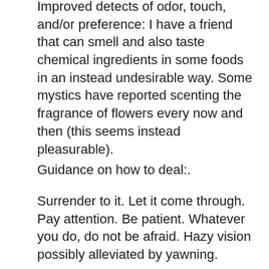Improved detects of odor, touch, and/or preference: I have a friend that can smell and also taste chemical ingredients in some foods in an instead undesirable way. Some mystics have reported scenting the fragrance of flowers every now and then (this seems instead pleasurable).
Guidance on how to deal:.
Surrender to it. Let it come through. Pay attention. Be patient. Whatever you do, do not be afraid. Hazy vision possibly alleviated by yawning.